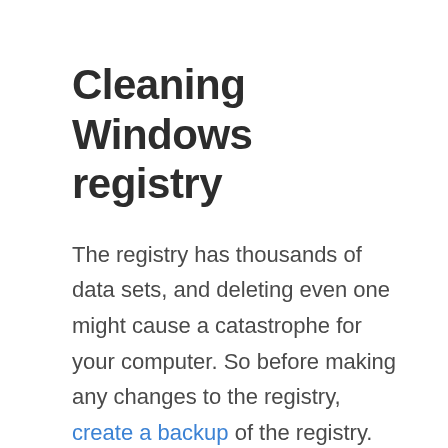Cleaning Windows registry
The registry has thousands of data sets, and deleting even one might cause a catastrophe for your computer. So before making any changes to the registry, create a backup of the registry. You can edit the registry by yourself, but it is pretty technical, so unless you understand deeply what you are doing, you shouldn't mess up with your registry and use registry cleaners instead. A list